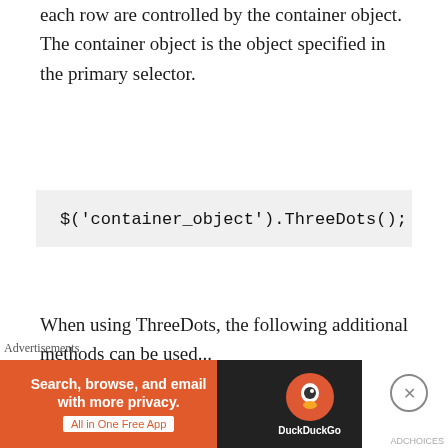each row are controlled by the container object. The container object is the object specified in the primary selector.
$('container_object').ThreeDots();
When using ThreeDots, the following additional methods can be used...
ThreeDots.update()
Refreshes the text within the target object inline with the options provided. Note that the current implementation of options/settings are destructive
Advertisements
[Figure (screenshot): DuckDuckGo advertisement banner: Search, browse, and email with more privacy. All in One Free App]